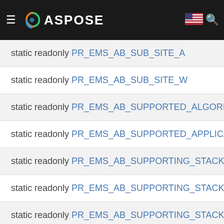ASPOSE navigation bar
static readonly PR_EMS_AB_SUB_SITE_A
static readonly PR_EMS_AB_SUB_SITE_W
static readonly PR_EMS_AB_SUPPORTED_ALGORITHM
static readonly PR_EMS_AB_SUPPORTED_APPLICATIO
static readonly PR_EMS_AB_SUPPORTING_STACK
static readonly PR_EMS_AB_SUPPORTING_STACK_BL
static readonly PR_EMS_AB_SUPPORTING_STACK_BL
static readonly PR_EMS_AB_SUPPORTING_STACK_O